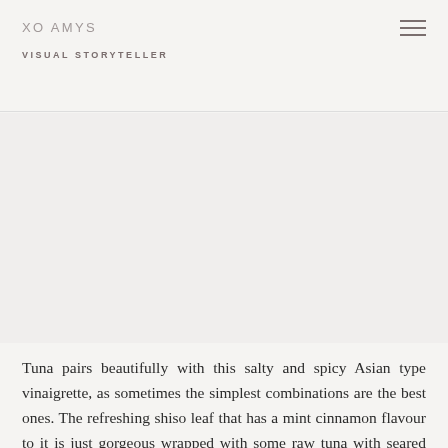XO AMYS
VISUAL STORYTELLER
[Figure (photo): Large food/lifestyle photograph area, appears light/white, likely showing a dish with tuna]
Tuna pairs beautifully with this salty and spicy Asian type vinaigrette, as sometimes the simplest combinations are the best ones. The refreshing shiso leaf that has a mint cinnamon flavour to it is just gorgeous wrapped with some raw tuna with seared garlic edges and sprinkles of fresh dill. The combination